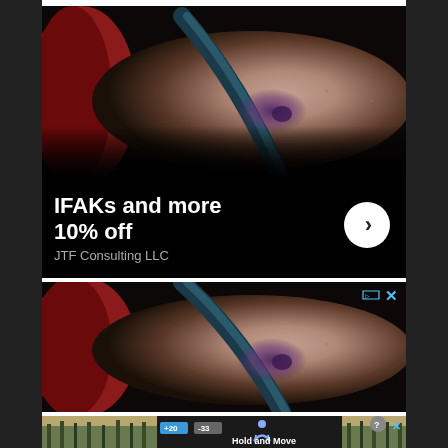[Figure (photo): Advertisement 1: Close-up photo of a person's arm/elbow with bruising, wearing a red sleeve, with a dark strap visible. Text overlay reads 'IFAKs and more 10% off' with 'JTF Consulting LLC' brand. Has ad icon and X button top right.]
[Figure (photo): Advertisement 2: Same close-up photo of arm/elbow with bruising. Partial view, cropped. Has ad icon and X button top right.]
[Figure (photo): Advertisement 3 partial: Bottom strip showing 'Hold and Move' game/app ad with person icon, score indicators +20 and -33, outdoor trees background. Has ? and X buttons.]